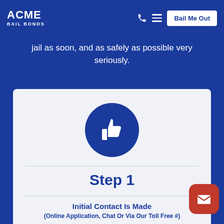ACME BAIL BONDS
jail as soon, and as safely as possible very seriously.
[Figure (illustration): White thumbs-up icon on a dark blue circle background, representing approval or a positive step indicator.]
Step 1
Initial Contact Is Made
(Online Application, Chat Or Via Our Toll Free #)
We gather information on your loved one as